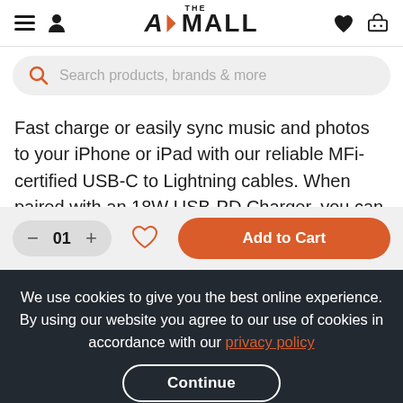A> THE MALL — navigation header with hamburger menu, person icon, logo, heart and cart icons
Search products, brands & more
Fast charge or easily sync music and photos to your iPhone or iPad with our reliable MFi-certified USB-C to Lightning cables. When paired with an 18W USB-PD Charger, you can see charge speeds for your iPhone 8 or later of 0 to 50% in 30 minutes.* MFi certification
01  Add to Cart
We use cookies to give you the best online experience. By using our website you agree to our use of cookies in accordance with our privacy policy
Continue